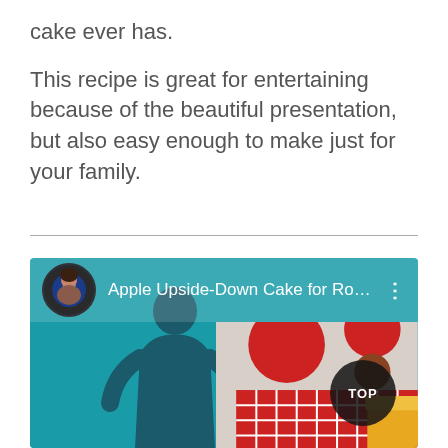cake ever has.
This recipe is great for entertaining because of the beautiful presentation, but also easy enough to make just for your family.
[Figure (screenshot): Video thumbnail showing a YouTube-style video card titled 'Apple Upside-Down Cake for Ros...' with a teal background, a silhouette of a person, a colorful tablecloth scene on the right, and a 'TOP' button in the lower right corner. A circular avatar photo of a woman is shown at the top left.]